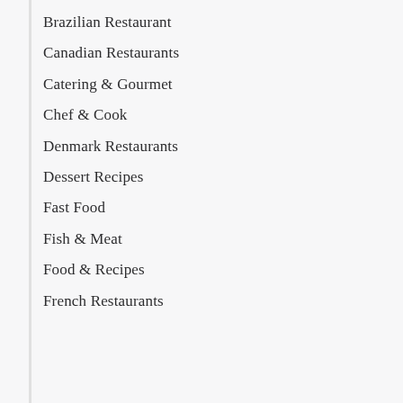Brazilian Restaurant
Canadian Restaurants
Catering & Gourmet
Chef & Cook
Denmark Restaurants
Dessert Recipes
Fast Food
Fish & Meat
Food & Recipes
French Restaurants